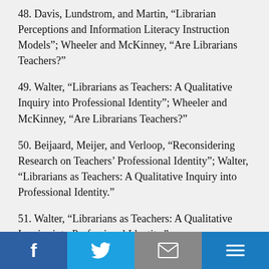48. Davis, Lundstrom, and Martin, “Librarian Perceptions and Information Literacy Instruction Models”; Wheeler and McKinney, “Are Librarians Teachers?”
49. Walter, “Librarians as Teachers: A Qualitative Inquiry into Professional Identity”; Wheeler and McKinney, “Are Librarians Teachers?”
50. Beijaard, Meijer, and Verloop, “Reconsidering Research on Teachers’ Professional Identity”; Walter, “Librarians as Teachers: A Qualitative Inquiry into Professional Identity.”
51. Walter, “Librarians as Teachers: A Qualitative Inquiry into Professional Identity.”
52. Hays and Studebaker, “Academic Instruction